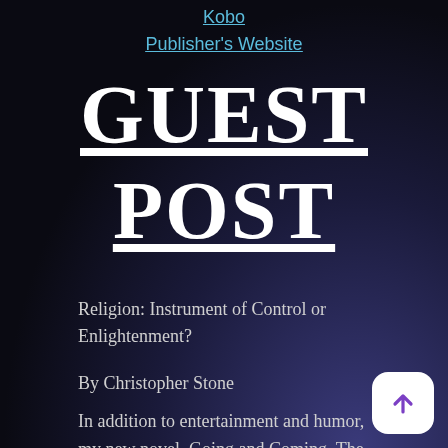Kobo
Publisher's Website
GUEST POST
Religion: Instrument of Control or Enlightenment?
By Christopher Stone
In addition to entertainment and humor, my new novel, Going and Coming, The Minnow Saint James Metaphysical Adventures, Book One, gives readers